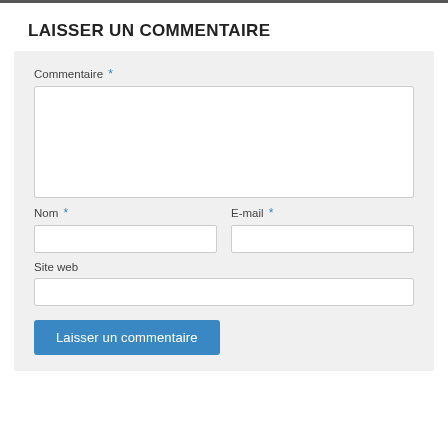LAISSER UN COMMENTAIRE
Commentaire *
Nom *
E-mail *
Site web
Laisser un commentaire